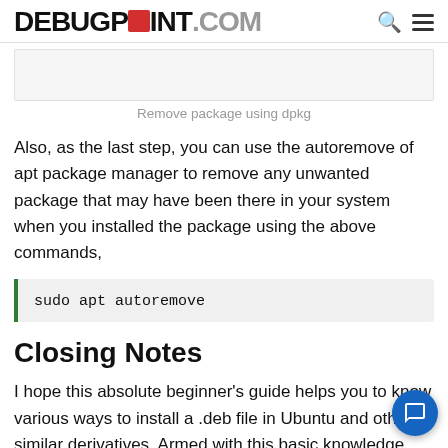DEBUGPOINT.COM
[Figure (screenshot): Screenshot showing dpkg package removal command in terminal]
Remove package using dpkg
Also, as the last step, you can use the autoremove of apt package manager to remove any unwanted package that may have been there in your system when you installed the package using the above commands,
Closing Notes
I hope this absolute beginner's guide helps you to know various ways to install a .deb file in Ubuntu and other similar derivatives. Armed with this basic knowledge,